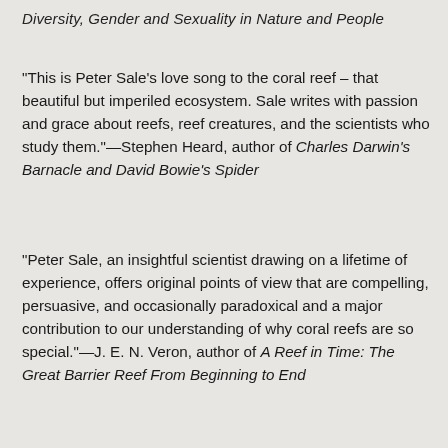Diversity, Gender and Sexuality in Nature and People
“This is Peter Sale’s love song to the coral reef – that beautiful but imperiled ecosystem. Sale writes with passion and grace about reefs, reef creatures, and the scientists who study them.”—Stephen Heard, author of Charles Darwin’s Barnacle and David Bowie’s Spider
“Peter Sale, an insightful scientist drawing on a lifetime of experience, offers original points of view that are compelling, persuasive, and occasionally paradoxical and a major contribution to our understanding of why coral reefs are so special.”—J. E. N. Veron, author of A Reef in Time: The Great Barrier Reef From Beginning to End